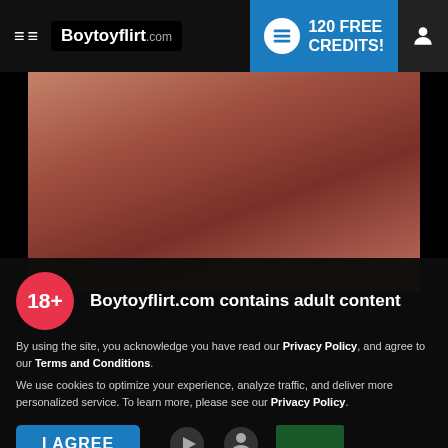Boytoyflirt.com — 120 FREE CREDITS!
[Figure (photo): Adult content thumbnail image]
18+ Boytoyflirt.com contains adult content
By using the site, you acknowledge you have read our Privacy Policy, and agree to our Terms and Conditions.
We use cookies to optimize your experience, analyze traffic, and deliver more personalized service. To learn more, please see our Privacy Policy.
I AGREE